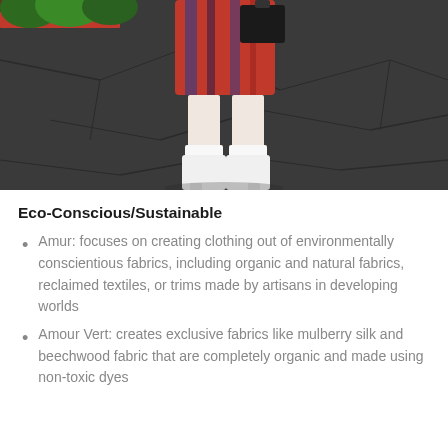[Figure (photo): A person walking on a dark paved surface wearing white ankle boots and a colorful patterned outfit, carrying a black bag. Greenery and a red curb are visible in the background.]
Eco-Conscious/Sustainable
Amur: focuses on creating clothing out of environmentally conscientious fabrics, including organic and natural fabrics, reclaimed textiles, or trims made by artisans in developing worlds
Amour Vert: creates exclusive fabrics like mulberry silk and beechwood fabric that are completely organic and made using non-toxic dyes